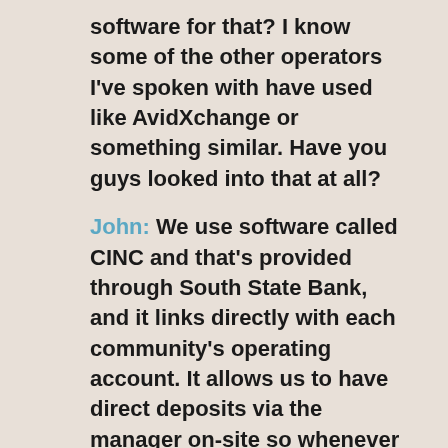software for that? I know some of the other operators I've spoken with have used like AvidXchange or something similar. Have you guys looked into that at all?
John: We use software called CINC and that's provided through South State Bank, and it links directly with each community's operating account. It allows us to have direct deposits via the manager on-site so whenever a payment is made, it goes directly into the operating account on site. There's no need to run to the bank anymore and deposit those checks on a daily basis. It's automatically done right there with that check capture machine.